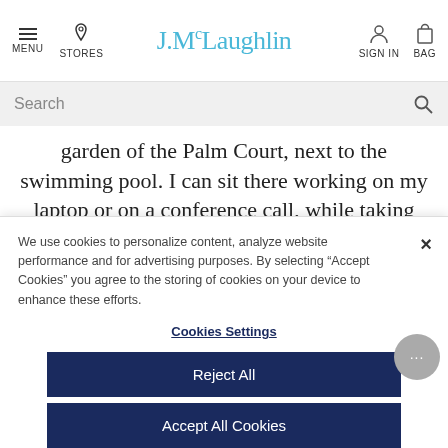J.McLaughlin — MENU | STORES | SIGN IN | BAG
Search
garden of the Palm Court, next to the swimming pool. I can sit there working on my laptop or on a conference call, while taking advantage of the warm weather and enjoying the people watching
We use cookies to personalize content, analyze website performance and for advertising purposes. By selecting “Accept Cookies” you agree to the storing of cookies on your device to enhance these efforts.
Cookies Settings
Reject All
Accept All Cookies